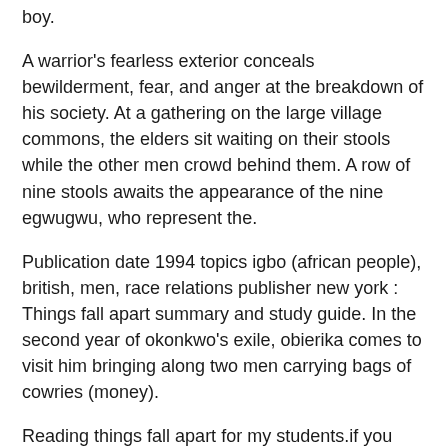boy.
A warrior's fearless exterior conceals bewilderment, fear, and anger at the breakdown of his society. At a gathering on the large village commons, the elders sit waiting on their stools while the other men crowd behind them. A row of nine stools awaits the appearance of the nine egwugwu, who represent the.
Publication date 1994 topics igbo (african people), british, men, race relations publisher new york : Things fall apart summary and study guide. In the second year of okonkwo's exile, obierika comes to visit him bringing along two men carrying bags of cowries (money).
Reading things fall apart for my students.if you enjoyed the reading and want to give me a dollar or two, here's a link: De